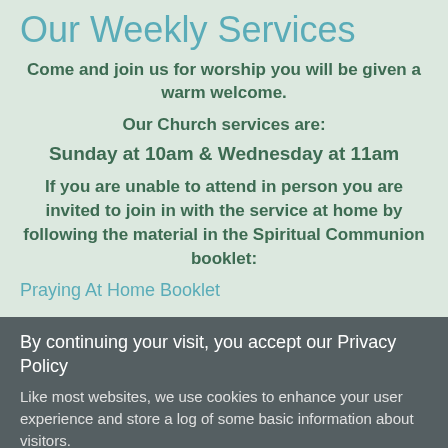Our Weekly Services
Come and join us for worship you will be given a warm welcome.
Our Church services are:
Sunday at 10am & Wednesday at 11am
If you are unable to attend in person you are invited to join in with the service at home by following the material in the Spiritual Communion booklet:
Praying At Home Booklet
By continuing your visit, you accept our Privacy Policy
Like most websites, we use cookies to enhance your user experience and store a log of some basic information about visitors.
Learn More....